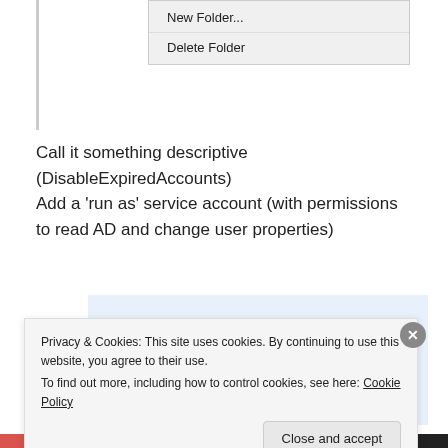[Figure (screenshot): Context menu showing 'New Folder...' and 'Delete Folder' options on a light gray dropdown menu, with a vertical border line on the left.]
Call it something descriptive (DisableExpiredAccounts) Add a 'run as' service account (with permissions to read AD and change user properties)
[Figure (screenshot): Advertisement banner with light blue background showing text 'the go.' with 'GET THE APP' link and WordPress logo icon.]
Privacy & Cookies: This site uses cookies. By continuing to use this website, you agree to their use.
To find out more, including how to control cookies, see here: Cookie Policy
Close and accept